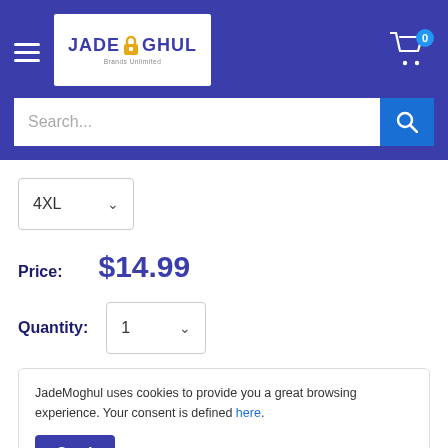[Figure (logo): JadeMoghul logo with padlock icon, white background, on blue navigation bar]
Search...
4XL
Price: $14.99
Quantity: 1
JadeMoghul uses cookies to provide you a great browsing experience. Your consent is defined here.
Sure!